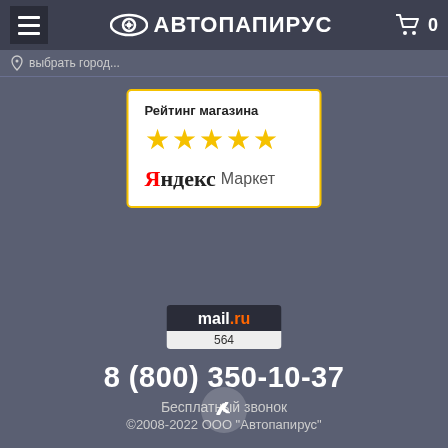АВТОПАПИРУС — header navigation with hamburger menu, logo and cart showing 0
выбрать город...
[Figure (screenshot): Рейтинг магазина with 5 yellow stars and Яндекс Маркет logo on white card with yellow border]
[Figure (logo): mail.ru badge showing 564]
8 (800) 350-10-37
Бесплатный звонок
©2008-2022 ООО "Автопапирус"
[Figure (logo): VK social network icon in circle]